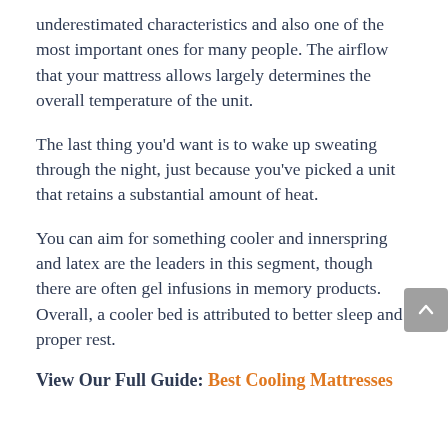underestimated characteristics and also one of the most important ones for many people. The airflow that your mattress allows largely determines the overall temperature of the unit.
The last thing you'd want is to wake up sweating through the night, just because you've picked a unit that retains a substantial amount of heat.
You can aim for something cooler and innerspring and latex are the leaders in this segment, though there are often gel infusions in memory products. Overall, a cooler bed is attributed to better sleep and proper rest.
View Our Full Guide: Best Cooling Mattresses